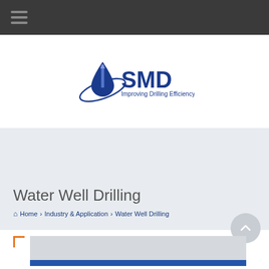Navigation menu bar
[Figure (logo): SMD logo with blue water drop and drill icon, text 'SMD Improving Drilling Efficiency']
Water Well Drilling
Home > Industry & Application > Water Well Drilling
[Figure (photo): Partially visible image at bottom of page, gray placeholder with blue banner element]